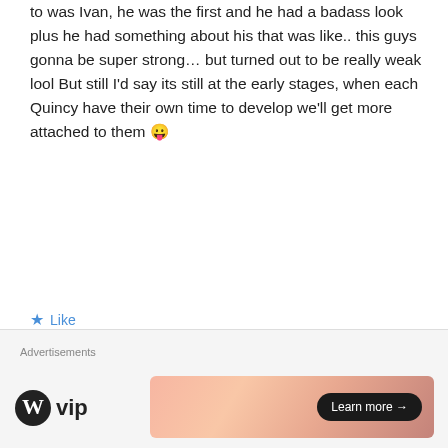to was Ivan, he was the first and he had a badass look plus he had something about his that was like.. this guys gonna be super strong… but turned out to be really weak lool But still I'd say its still at the early stages, when each Quincy have their own time to develop we'll get more attached to them 😛
★ Like
Ne3X7
July 26, 2012 at 5:39 pm
I really liked the Leader, he's a bit of
[Figure (illustration): Avatar image of a cartoon crab-like character on a blue background]
Advertisements
[Figure (logo): WordPress VIP logo with circular W icon]
[Figure (infographic): Advertisement banner with gradient orange-pink background and 'Learn more →' button]